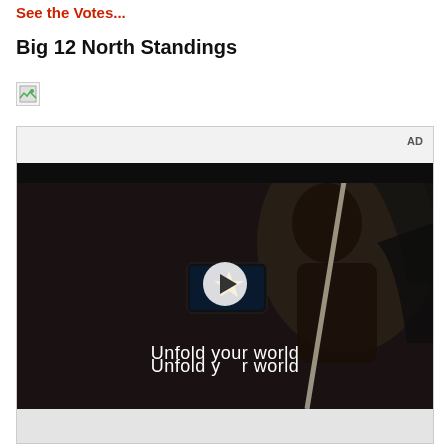See the Votes...
Big 12 North Standings
[Figure (other): Broken image placeholder icon]
[Figure (other): Advertisement video player showing 'Unfold your world' Samsung ad with a woman holding a foldable phone in a car, with a play button overlay. AD label in top right corner.]